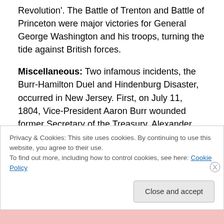Revolution'. The Battle of Trenton and Battle of Princeton were major victories for General George Washington and his troops, turning the tide against British forces.
Miscellaneous: Two infamous incidents, the Burr-Hamilton Duel and Hindenburg Disaster, occurred in New Jersey. First, on July 11, 1804, Vice-President Aaron Burr wounded former Secretary of the Treasury, Alexander Hamilton, capping their long feud. This rivalry was turned into the hit musical Hamilton. Later, on May 6, 1937, the Hindenburg airship caught fire and crashed, while docking
Privacy & Cookies: This site uses cookies. By continuing to use this website, you agree to their use.
To find out more, including how to control cookies, see here: Cookie Policy